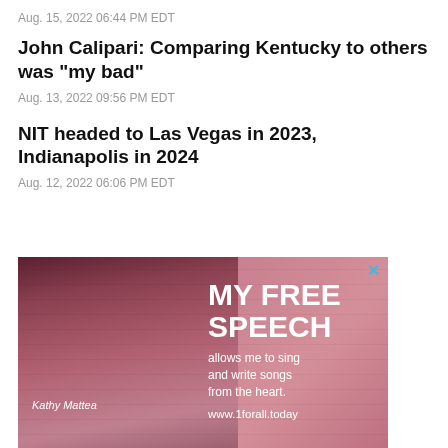Aug. 15, 2022 06:44 PM EDT
John Calipari: Comparing Kentucky to others was "my bad"
Aug. 13, 2022 09:56 PM EDT
NIT headed to Las Vegas in 2023, Indianapolis in 2024
Aug. 12, 2022 06:06 PM EDT
[Figure (photo): Advertisement featuring Kathy Mattea with text: MY FREE SPEECH allows me to sing and write songs from the heart. www.1forall.today]